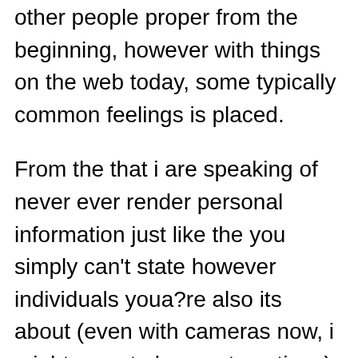other people proper from the beginning, however with things on the web today, some typically common feelings is placed.
From the that i are speaking of never ever render personal information just like the you simply can't state however individuals youa?re also its about (even with cameras now, i might grow to be most cautious).
Flingstera?s web site (there is absolutely no Flingster an effective??appa?? you simply usage of web site your self smart phone), is amazingly instantaneous using its design and you can display screen. Most, after you enter the intercourse (male, female or people) and consent to the kind of terms,flix at once you will be on all of